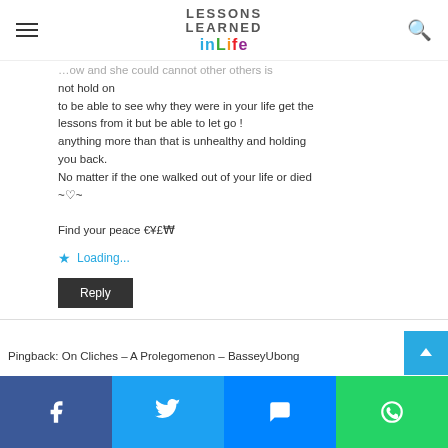Lessons Learned in Life
... ow and she could cannot other others is not hold on
to be able to see why they were in your life get the lessons from it but be able to let go !
anything more than that is unhealthy and holding you back.
No matter if the one walked out of your life or died
~♡~
Find your peace €¥£₩
Loading...
Reply
Pingback: On Cliches – A Prolegomenon – BasseyUbong